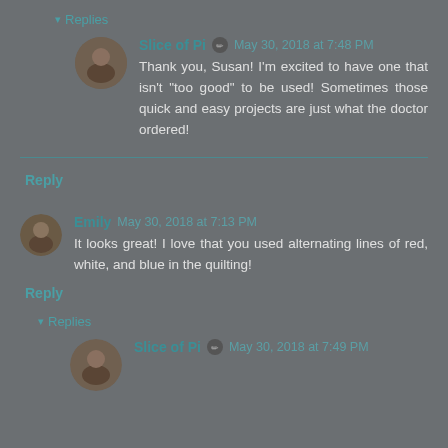▾ Replies
Slice of Pi ✏ May 30, 2018 at 7:48 PM
Thank you, Susan! I'm excited to have one that isn't "too good" to be used! Sometimes those quick and easy projects are just what the doctor ordered!
Reply
Emily May 30, 2018 at 7:13 PM
It looks great! I love that you used alternating lines of red, white, and blue in the quilting!
Reply
▾ Replies
Slice of Pi ✏ May 30, 2018 at 7:49 PM